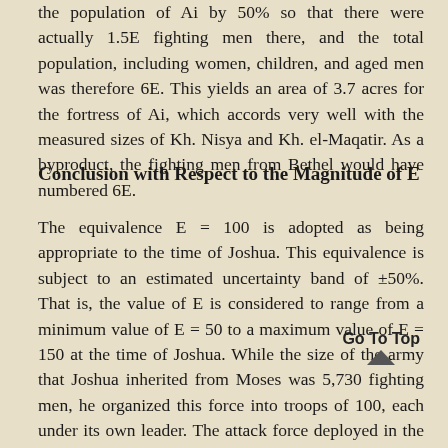the population of Ai by 50% so that there were actually 1.5E fighting men there, and the total population, including women, children, and aged men was therefore 6E. This yields an area of 3.7 acres for the fortress of Ai, which accords very well with the measured sizes of Kh. Nisya and Kh. el-Maqatir. As a byproduct, the fighting men from Bethel would have numbered 6E.
Conclusion with Respect to the Magnitude of E
The equivalence E = 100 is adopted as being appropriate to the time of Joshua. This equivalence is subject to an estimated uncertainty band of ±50%. That is, the value of E is considered to range from a minimum value of E = 50 to a maximum value of E = 150 at the time of Joshua. While the size of the army that Joshua inherited from Moses was 5,730 fighting men, he organized this force into troops of 100, each under its own leader. The attack force deployed in the first battle of Ai was 3E = 300 men, so that the 36 men killed in action would have been 12% of this attack force. The attack force that Joshua personally led into the second battle was 5,730, or approximately 57E. The primary ambush force that Joshua deployed according to Joshua